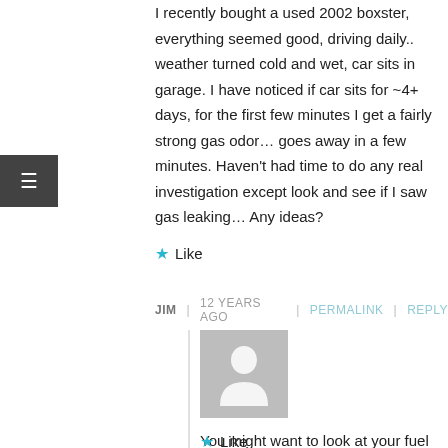I recently bought a used 2002 boxster, everything seemed good, driving daily.. weather turned cold and wet, car sits in garage. I have noticed if car sits for ~4+ days, for the first few minutes I get a fairly strong gas odor… goes away in a few minutes. Haven't had time to do any real investigation except look and see if I saw gas leaking… Any ideas?
★ Like
JIM | 12 YEARS AGO | PERMALINK | REPLY
[Figure (illustration): Gray placeholder avatar image showing a person silhouette]
You might want to look at your fuel injectors, maybe one of them is having a leak in the fuel injector seal. You have to replace the injecto, you can't fix the seal.
★ Like